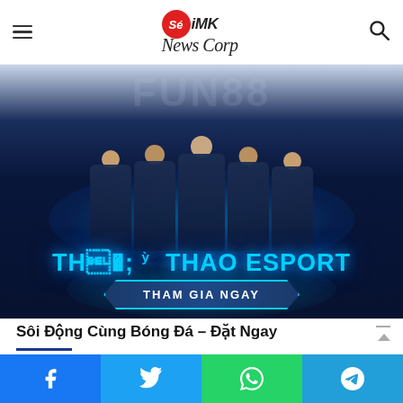Sé iMK News Corp — navigation header with hamburger menu and search icon
[Figure (photo): Promotional banner for FUN88 esports betting: five esports players in dark jerseys with OG logo, standing against a blue glowing background. Text reads 'THẾ THAO ESPORT' and button 'THAM GIA NGAY'.]
Sôi Động Cùng Bóng Đá – Đặt Ngay
[Figure (infographic): Social share bar with four buttons: Facebook (blue), Twitter (light blue), WhatsApp (green), Telegram (blue)]